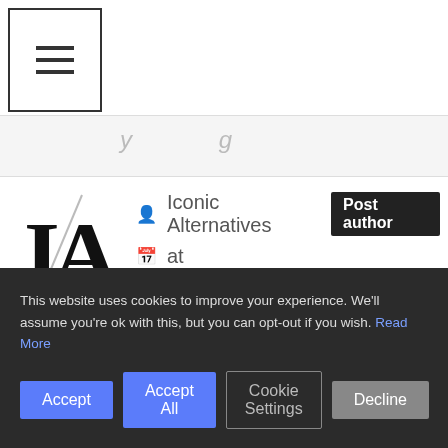[Figure (logo): Hamburger menu icon button with three horizontal lines inside a square border]
Iconic Alternatives  Post author
at
Permalink
Thanks David! I think there’s two ways to approach layering. First is just for practical reasons. It’s an effective way of dressing that
This website uses cookies to improve your experience. We’ll assume you’re ok with this, but you can opt-out if you wish. Read More
Accept  Accept All  Cookie Settings  Decline